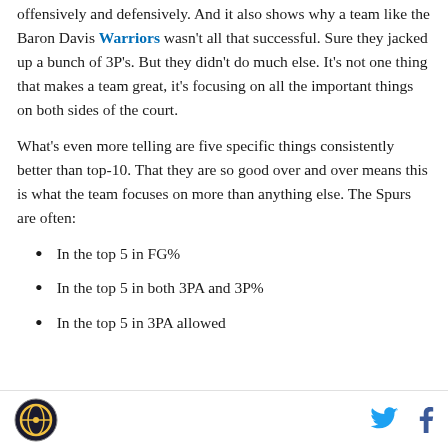offensively and defensively. And it also shows why a team like the Baron Davis Warriors wasn't all that successful. Sure they jacked up a bunch of 3P's. But they didn't do much else. It's not one thing that makes a team great, it's focusing on all the important things on both sides of the court.
What's even more telling are five specific things consistently better than top-10. That they are so good over and over means this is what the team focuses on more than anything else. The Spurs are often:
In the top 5 in FG%
In the top 5 in both 3PA and 3P%
In the top 5 in 3PA allowed
SB Nation logo | Twitter icon | Facebook icon